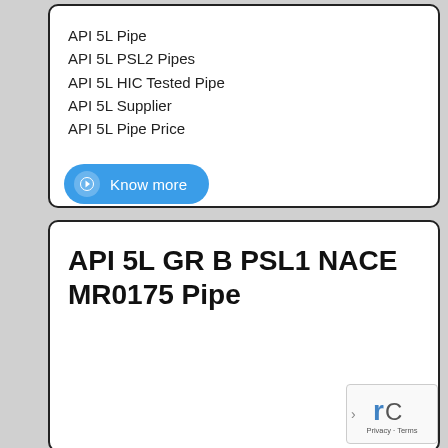API 5L Pipe
API 5L PSL2 Pipes
API 5L HIC Tested Pipe
API 5L Supplier
API 5L Pipe Price
API 5L GR B PSL1 NACE MR0175 Pipe